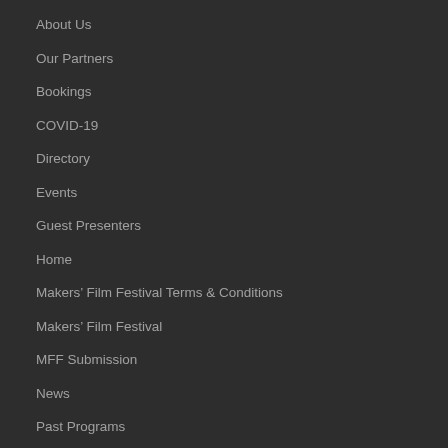About Us
Our Partners
Bookings
COVID-19
Directory
Events
Guest Presenters
Home
Makers’ Film Festival Terms & Conditions
Makers’ Film Festival
MFF Submission
News
Past Programs
Privacy Policy
T&Cs and FAQs (Class / Events)